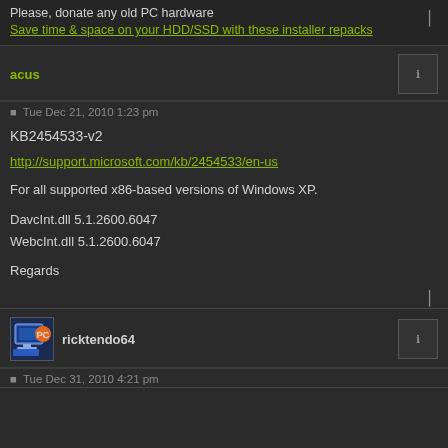Please, donate any old PC hardware
Save time & space on your HDD/SSD with these installer repacks
acus
Tue Dec 21, 2010 1:23 pm
KB2454533-v2
http://support.microsoft.com/kb/2454533/en-us
For all supported x86-based versions of Windows XP.
DavcInt.dll 5.1.2600.6047
WebcInt.dll 5.1.2600.6047
Regards
ricktendo64
Tue Dec 31, 2010 4:21 pm